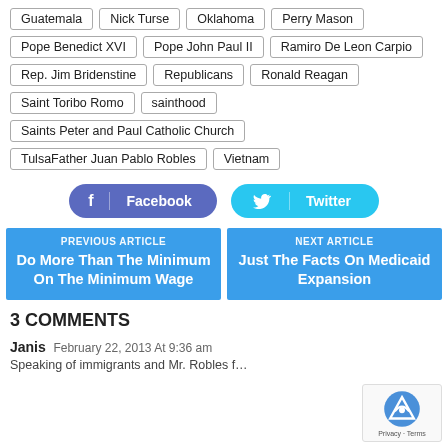Guatemala
Nick Turse
Oklahoma
Perry Mason
Pope Benedict XVI
Pope John Paul II
Ramiro De Leon Carpio
Rep. Jim Bridenstine
Republicans
Ronald Reagan
Saint Toribo Romo
sainthood
Saints Peter and Paul Catholic Church
TulsaFather Juan Pablo Robles
Vietnam
Facebook
Twitter
PREVIOUS ARTICLE
Do More Than The Minimum On The Minimum Wage
NEXT ARTICLE
Just The Facts On Medicaid Expansion
3 COMMENTS
Janis February 22, 2013 At 9:36 am